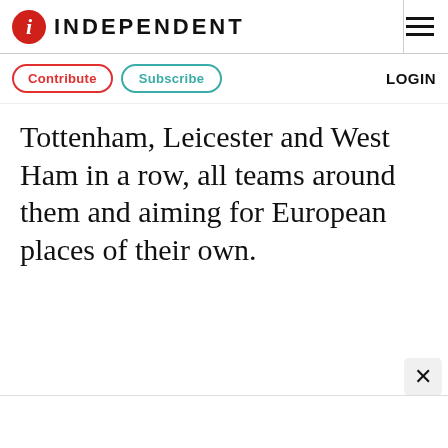INDEPENDENT
Contribute  Subscribe  LOGIN
Tottenham, Leicester and West Ham in a row, all teams around them and aiming for European places of their own.